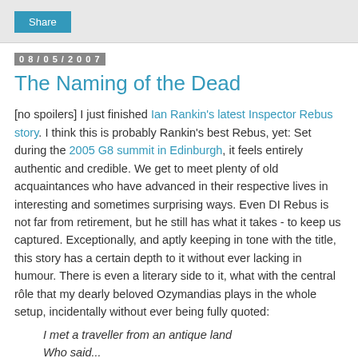Share
08/05/2007
The Naming of the Dead
[no spoilers] I just finished Ian Rankin's latest Inspector Rebus story. I think this is probably Rankin's best Rebus, yet: Set during the 2005 G8 summit in Edinburgh, it feels entirely authentic and credible. We get to meet plenty of old acquaintances who have advanced in their respective lives in interesting and sometimes surprising ways. Even DI Rebus is not far from retirement, but he still has what it takes - to keep us captured. Exceptionally, and aptly keeping in tone with the title, this story has a certain depth to it without ever lacking in humour. There is even a literary side to it, what with the central rôle that my dearly beloved Ozymandias plays in the whole setup, incidentally without ever being fully quoted:
I met a traveller from an antique land
Who said...